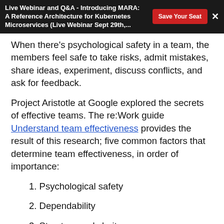Live Webinar and Q&A - Introducing MARA: A Reference Architecture for Kubernetes Microservices (Live Webinar Sept 29th,...
When there's psychological safety in a team, the members feel safe to take risks, admit mistakes, share ideas, experiment, discuss conflicts, and ask for feedback.
Project Aristotle at Google explored the secrets of effective teams. The re:Work guide Understand team effectiveness provides the result of this research; five common factors that determine team effectiveness, in order of importance:
1. Psychological safety
2. Dependability
3. Structure and clarity